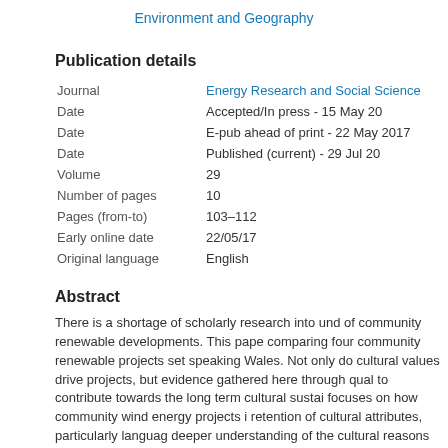Environment and Geography
Publication details
| Field | Value |
| --- | --- |
| Journal | Energy Research and Social Science |
| Date | Accepted/In press - 15 May 20 |
| Date | E-pub ahead of print - 22 May 2017 |
| Date | Published (current) - 29 Jul 20 |
| Volume | 29 |
| Number of pages | 10 |
| Pages (from-to) | 103–112 |
| Early online date | 22/05/17 |
| Original language | English |
Abstract
There is a shortage of scholarly research into und of community renewable developments. This pape comparing four community renewable projects set speaking Wales. Not only do cultural values drive projects, but evidence gathered here through qual to contribute towards the long term cultural sustai focuses on how community wind energy projects i retention of cultural attributes, particularly languag deeper understanding of the cultural reasons why towards the renewable energy sector (and develo achieve cultural sustainability through economic d